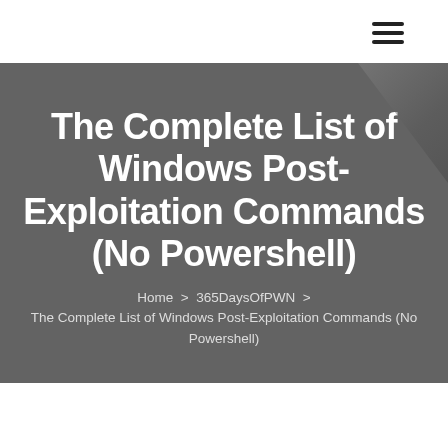☰
The Complete List of Windows Post-Exploitation Commands (No Powershell)
Home  >  365DaysOfPWN  >  The Complete List of Windows Post-Exploitation Commands (No Powershell)